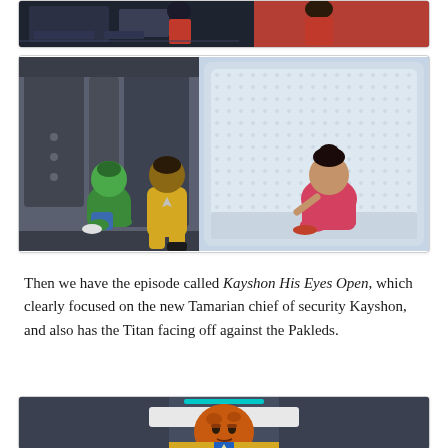[Figure (illustration): Partial view of an animated Star Trek scene showing characters on a starship bridge, cropped at top of page]
[Figure (illustration): Animated Star Trek Lower Decks scene showing three characters sitting on a starship corridor floor: a green-skinned character, a character in yellow uniform, and a female character in a red top, with a window behind them]
Then we have the episode called Kayshon His Eyes Open, which clearly focused on the new Tamarian chief of security Kayshon, and also has the Titan facing off against the Pakleds.
[Figure (illustration): Animated Star Trek character: an orange-headed alien in a yellow and blue Starfleet uniform, partially cropped at bottom of page]